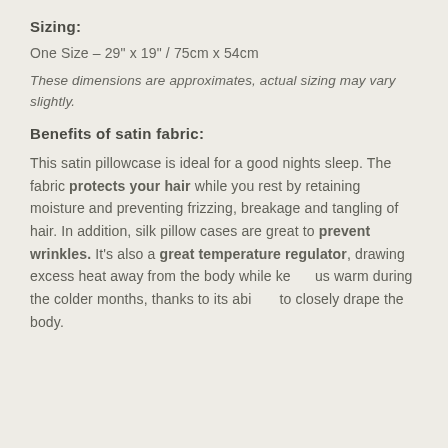Sizing:
One Size – 29" x 19" / 75cm x 54cm
These dimensions are approximates, actual sizing may vary slightly.
Benefits of satin fabric:
This satin pillowcase is ideal for a good nights sleep. The fabric protects your hair while you rest by retaining moisture and preventing frizzing, breakage and tangling of hair. In addition, silk pillow cases are great to prevent wrinkles. It's also a great temperature regulator, drawing excess heat away from the body while keeping us warm during the colder months, thanks to its ability to closely drape the body.